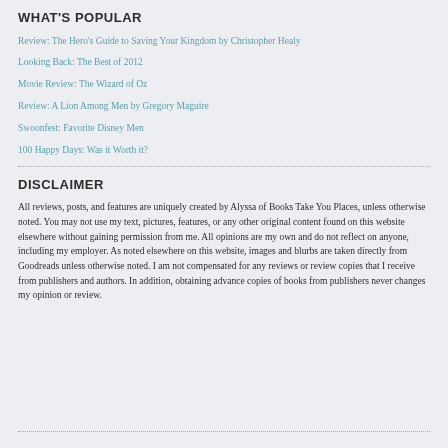WHAT'S POPULAR
Review: The Hero's Guide to Saving Your Kingdom by Christopher Healy
Looking Back: The Best of 2012
Movie Review: The Wizard of Oz
Review: A Lion Among Men by Gregory Maguire
Swoonfest: Favorite Disney Men
100 Happy Days: Was it Worth it?
DISCLAIMER
All reviews, posts, and features are uniquely created by Alyssa of Books Take You Places, unless otherwise noted. You may not use my text, pictures, features, or any other original content found on this website elsewhere without gaining permission from me. All opinions are my own and do not reflect on anyone, including my employer. As noted elsewhere on this website, images and blurbs are taken directly from Goodreads unless otherwise noted. I am not compensated for any reviews or review copies that I receive from publishers and authors. In addition, obtaining advance copies of books from publishers never changes my opinion or review.